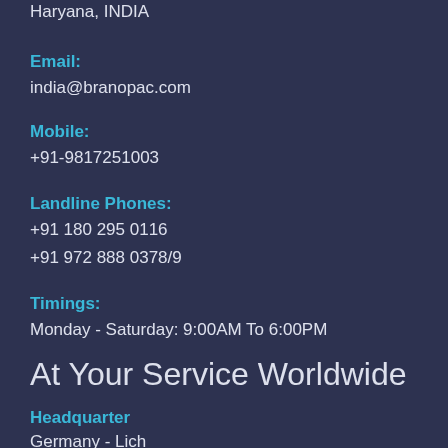Haryana, INDIA
Email:
india@branopac.com
Mobile:
+91-9817251003
Landline Phones:
+91 180 295 0116
+91 972 888 0378/9
Timings:
Monday - Saturday: 9:00AM To 6:00PM
At Your Service Worldwide
Headquarter
Germany - Lich